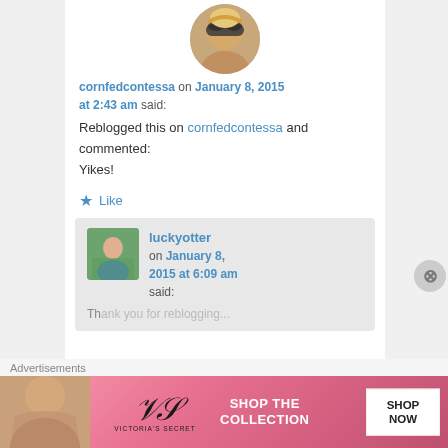[Figure (photo): Profile avatar photo of cornfedcontessa - woman with sunglasses and blonde hair]
cornfedcontessa on January 8, 2015 at 2:43 am said:
Reblogged this on cornfedcontessa and commented:
Yikes!
★ Like
[Figure (photo): Reply avatar of luckyotter - woman in blue standing outdoors]
luckyotter on January 8, 2015 at 6:09 am said:
Thank you for reblogging:
Advertisements
[Figure (photo): Victoria's Secret advertisement banner - Shop The Collection, Shop Now]